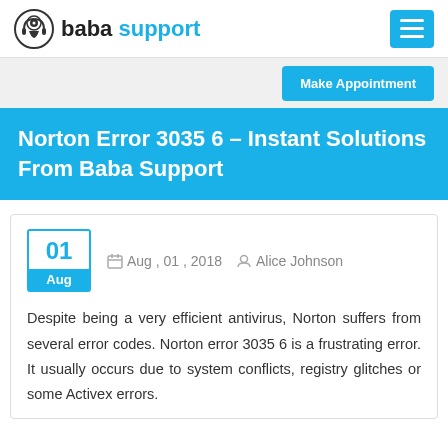baba support
Make Appointment
Norton Error 3035 6 – Instant Solutions From Baba Support
01 Aug , 01 , 2018 Alice Johnson
Despite being a very efficient antivirus, Norton suffers from several error codes. Norton error 3035 6 is a frustrating error. It usually occurs due to system conflicts, registry glitches or some Activex errors.